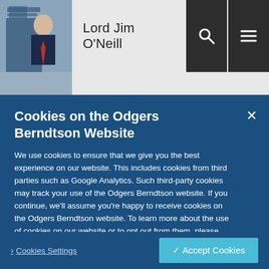[Figure (screenshot): Navigation bar with photo of Lord Jim O'Neill, name text, and search/menu icons]
Lord Jim O'Neill
Cookies on the Odgers Berndtson Website
We use cookies to ensure that we give you the best experience on our website. This includes cookies from third parties such as Google Analytics. Such third-party cookies may track your use of the Odgers Berndtson website. If you continue, we'll assume you're happy to receive cookies on the Odgers Berndtson website. To learn more about the use of cookies on our website or to opt out from them, please visit our Privacy Policy.
> Cookies Settings
✔ Accept Cookies